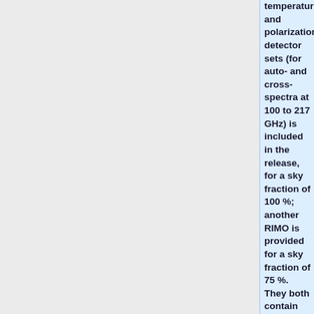temperature and polarization detector sets (for auto- and cross-spectra at 100 to 217 GHz) is included in the release, for a sky fraction of 100 %; another RIMO is provided for a sky fraction of 75 %. They both contain the first five beam error eigenmodes and their covariance matrix, for the multipole ranges [0, …];